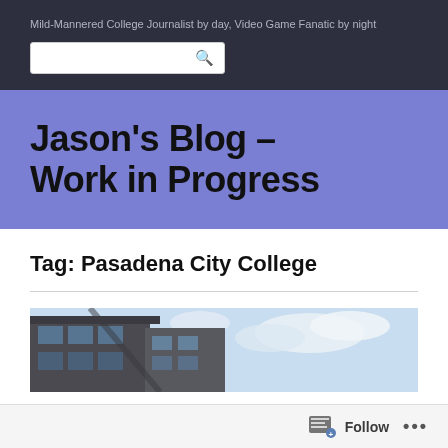Mild-Mannered College Journalist by day, Video Game Fanatic by night
Jason's Blog – Work in Progress
Tag: Pasadena City College
[Figure (photo): Exterior view of a modern college building with blue sky and clouds in the background]